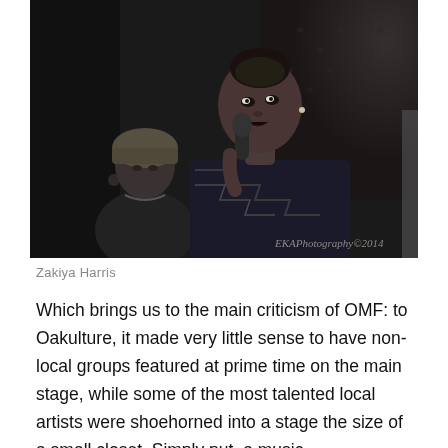[Figure (photo): Black and white photograph of two women. In the foreground, a woman holds a microphone close to her mouth and appears to be performing or speaking. She is wearing a patterned jacket. In the background, another woman wearing a head wrap looks on. The image has a watermark reading 'EKAPhotography©2014' in the lower right corner.]
Zakiya Harris
Which brings us to the main criticism of OMF: to Oakulture, it made very little sense to have non-local groups featured at prime time on the main stage, while some of the most talented local artists were shoehorned into a stage the size of a small closet. Simply put, a music